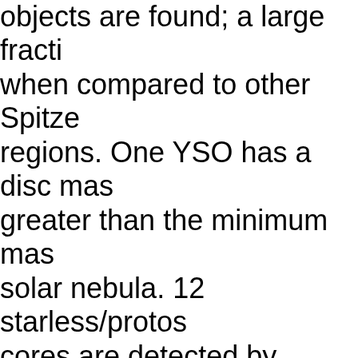objects are found; a large fraction when compared to other Spitzer regions. One YSO has a disc mass greater than the minimum mass solar nebula. 12 starless/protost cores are detected by SCUBA-2 a their masses are calculated. The stability of these cores is examin using both the thermal Jeans m and a turbulent virial mass whe possible. Two cores in Lupus I a super-Jeans and contain no kno YSOs. One of these cores has a v parameter of 1.1 ± 0.4, and coul therefore be pre-stellar. The hic ratio of Class 0/I to Class III YS